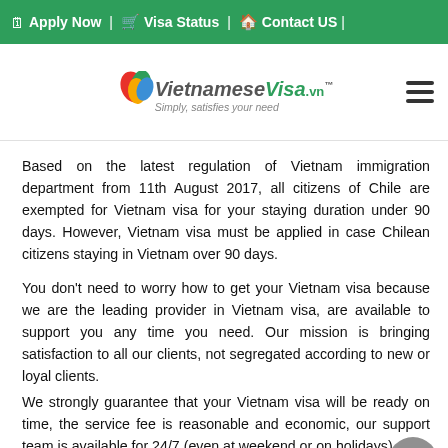Apply Now | Visa Status | Contact US
[Figure (logo): VietnameseVisa.vn logo with colorful leaf icon and tagline 'Simply, satisfies your need']
Based on the latest regulation of Vietnam immigration department from 11th August 2017, all citizens of Chile are exempted for Vietnam visa for your staying duration under 90 days. However, Vietnam visa must be applied in case Chilean citizens staying in Vietnam over 90 days.
You don't need to worry how to get your Vietnam visa because we are the leading provider in Vietnam visa, are available to support you any time you need. Our mission is bringing satisfaction to all our clients, not segregated according to new or loyal clients.
We strongly guarantee that your Vietnam visa will be ready on time, the service fee is reasonable and economic, our support team is available for 24/7 (even at weekend or on holidays), and